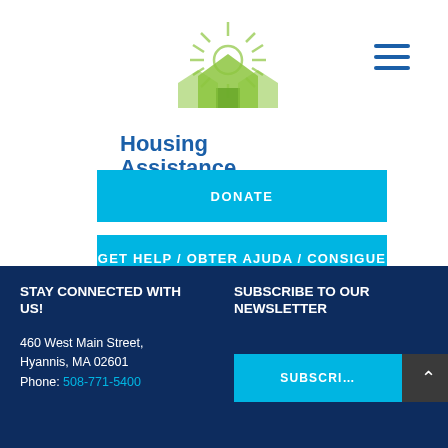[Figure (logo): Housing Assistance logo with green sun and house illustration, blue text reading Housing Assistance]
[Figure (other): Hamburger menu icon (three horizontal lines) in dark blue]
DONATE
GET HELP / OBTER AJUDA / CONSIGUE AYUDA
STAY CONNECTED WITH US!
460 West Main Street, Hyannis, MA 02601
Phone: 508-771-5400
SUBSCRIBE TO OUR NEWSLETTER
SUBSCRIBE